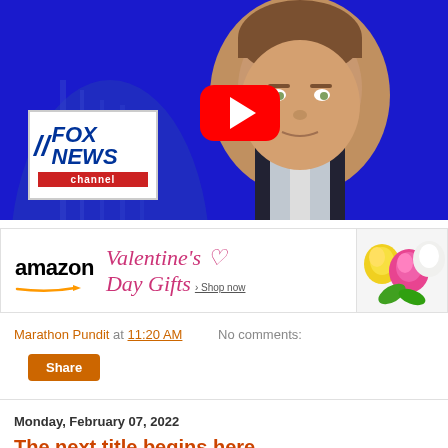[Figure (screenshot): Fox News video thumbnail showing a male news anchor in front of a blue background with a Capitol dome, Fox News Channel logo in the lower left, and a YouTube play button overlay in the center]
[Figure (screenshot): Amazon Valentine's Day Gifts advertisement banner with Amazon logo, pink italic text reading Valentine's Day Gifts with Shop now link, and flowers on the right]
Marathon Pundit at 11:20 AM    No comments:
Share
Monday, February 07, 2022
The next title begins here...